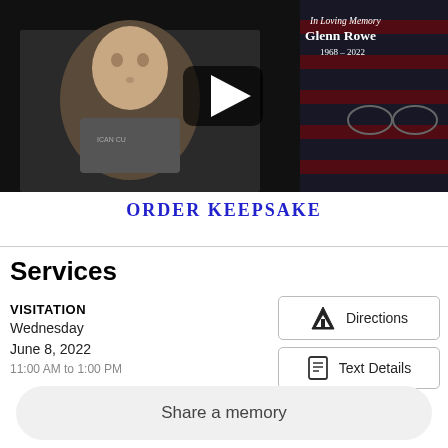[Figure (photo): Video thumbnail showing a memorial for Glenn Rowe (1968-2022) with a photo of a middle-aged man in a gray t-shirt, American flag in background, play button overlay, and text 'In Loving Memory Glenn Rowe 1968 - 2022']
ORDER KEEPSAKE
Services
VISITATION
Wednesday
June 8, 2022
11:00 AM to 1:00 PM
Directions
Text Details
Share a memory